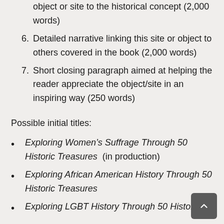object or site to the historical concept (2,000 words)
6. Detailed narrative linking this site or object to others covered in the book (2,000 words)
7. Short closing paragraph aimed at helping the reader appreciate the object/site in an inspiring way (250 words)
Possible initial titles:
Exploring Women’s Suffrage Through 50 Historic Treasures  (in production)
Exploring African American History Through 50 Historic Treasures
Exploring LGBT History Through 50 Historic Treasures